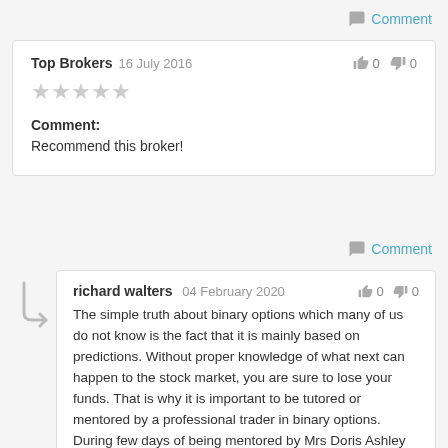Comment
Top Brokers 16 July 2016 | 0 | 0
★★★★★
Comment:
Recommend this broker!
Comment
[Figure (other): Reply arrow icon indicating a nested reply]
richard walters 04 February 2020 | 0 | 0
The simple truth about binary options which many of us do not know is the fact that it is mainly based on predictions. Without proper knowledge of what next can happen to the stock market, you are sure to lose your funds. That is why it is important to be tutored or mentored by a professional trader in binary options. During few days of being mentored by Mrs Doris Ashley I've learnt much and also succeeding in trades and has been doing successful withdrawals and was